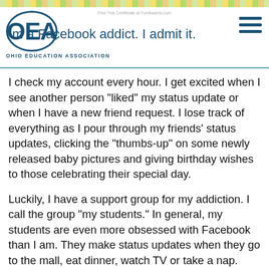Find This Certificate at FunAwards.com
[Figure (logo): OEA (Ohio Education Association) circular logo with hamburger menu icon]
I'm a Facebook addict. I admit it.
I check my account every hour. I get excited when I see another person "liked" my status update or when I have a new friend request. I lose track of everything as I pour through my friends' status updates, clicking the "thumbs-up" on some newly released baby pictures and giving birthday wishes to those celebrating their special day.
Luckily, I have a support group for my addiction. I call the group "my students." In general, my students are even more obsessed with Facebook than I am. They make status updates when they go to the mall, eat dinner, watch TV or take a nap.
With that in mind, I have found many ways to productively utilize the site in my classroom